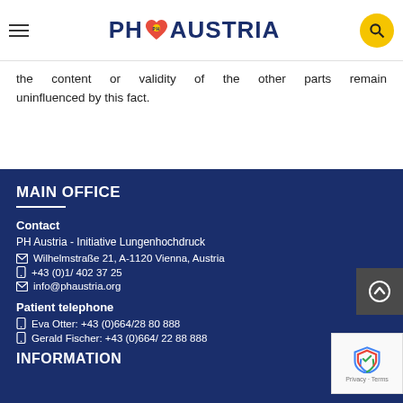PH Austria - Initiative Lungenhochdruck
the content or validity of the other parts remain uninfluenced by this fact.
MAIN OFFICE
Contact
PH Austria - Initiative Lungenhochdruck
Wilhelmstraße 21, A-1120 Vienna, Austria
+43 (0)1/ 402 37 25
info@phaustria.org
Patient telephone
Eva Otter: +43 (0)664/28 80 888
Gerald Fischer: +43 (0)664/ 22 88 888
INFORMATION